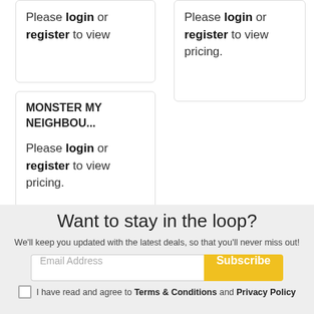Please login or register to view
Please login or register to view pricing.
MONSTER MY NEIGHBOUR
Please login or register to view pricing.
Want to stay in the loop?
We'll keep you updated with the latest deals, so that you'll never miss out!
Email Address
Subscribe
I have read and agree to Terms & Conditions and Privacy Policy